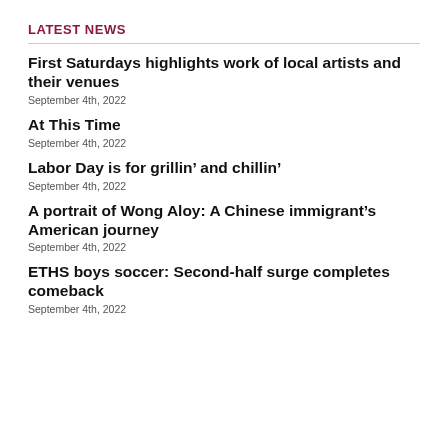LATEST NEWS
First Saturdays highlights work of local artists and their venues
September 4th, 2022
At This Time
September 4th, 2022
Labor Day is for grillin’ and chillin’
September 4th, 2022
A portrait of Wong Aloy: A Chinese immigrant’s American journey
September 4th, 2022
ETHS boys soccer: Second-half surge completes comeback
September 4th, 2022